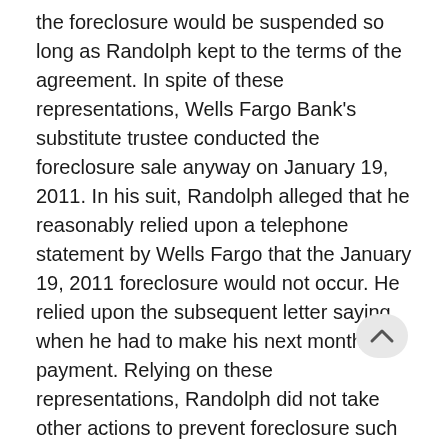the foreclosure would be suspended so long as Randolph kept to the terms of the agreement. In spite of these representations, Wells Fargo Bank's substitute trustee conducted the foreclosure sale anyway on January 19, 2011. In his suit, Randolph alleged that he reasonably relied upon a telephone statement by Wells Fargo that the January 19, 2011 foreclosure would not occur. He relied upon the subsequent letter saying when he had to make his next monthly payment. Relying on these representations, Randolph did not take other actions to prevent foreclosure such as hiring an attorney. After he discovered what happened, Randolph sued Wells Fargo. The Court denied Wells Fargo's initial motion to dismiss the case and allowed Randolph's claim for promissory fraud to proceed in Court. The case settled before trial.